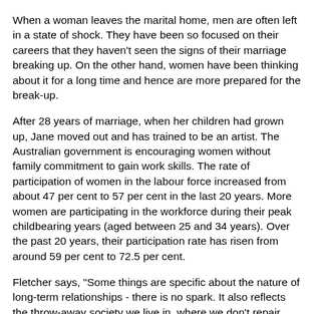When a woman leaves the marital home, men are often left in a state of shock. They have been so focused on their careers that they haven't seen the signs of their marriage breaking up. On the other hand, women have been thinking about it for a long time and hence are more prepared for the break-up.
After 28 years of marriage, when her children had grown up, Jane moved out and has trained to be an artist. The Australian government is encouraging women without family commitment to gain work skills. The rate of participation of women in the labour force increased from about 47 per cent to 57 per cent in the last 20 years. More women are participating in the workforce during their peak childbearing years (aged between 25 and 34 years). Over the past 20 years, their participation rate has risen from around 59 per cent to 72.5 per cent.
Fletcher says, "Some things are specific about the nature of long-term relationships - there is no spark. It also reflects the throw-away society we live in, where we don't repair things anymore." She feels the media also has a role to play by portraying an unrealistic expectation of marriage whereby every desire and need is met.
According to the Australian Bureau of Statistics, of divorcing couples in 2004, 16 per cent were married less than 5 years, 25 per cent between 5 and 9 years and 59